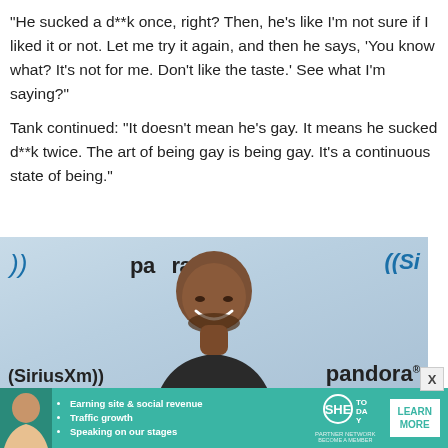"He sucked a d**k once, right? Then, he's like I'm not sure if I liked it or not. Let me try it again, and then he says, 'You know what? It's not for me. Don't like the taste.' See what I'm saying?"
Tank continued: "It doesn't mean he's gay. It means he sucked d**k twice. The art of being gay is being gay. It's a continuous state of being."
[Figure (photo): Man smiling at Pandora/SiriusXM event backdrop, wearing dark jacket]
[Figure (infographic): SHE Media partner network advertisement banner with woman's photo, bullet points about earning site, traffic growth, speaking on stages, and LEARN MORE button]